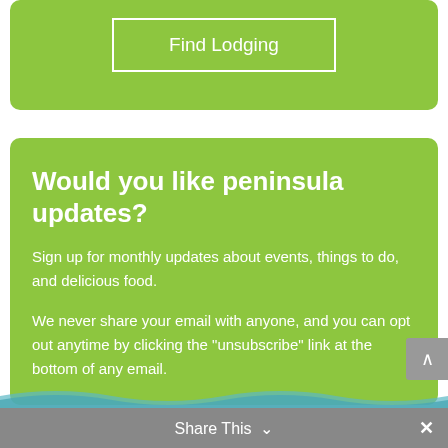[Figure (other): Green box with 'Find Lodging' button outlined in white]
Would you like peninsula updates?
Sign up for monthly updates about events, things to do, and delicious food.
We never share your email with anyone, and you can opt out anytime by clicking the "unsubscribe" link at the bottom of any email.
Share This